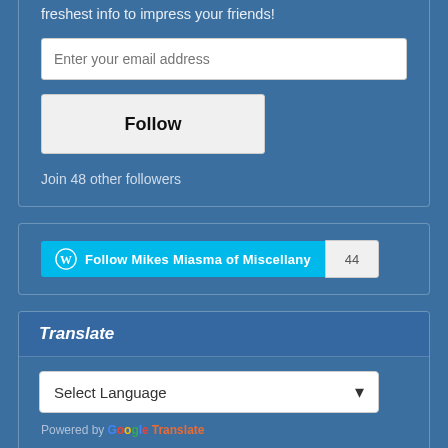freshest info to impress your friends!
Enter your email address
Follow
Join 48 other followers
[Figure (other): WordPress Follow button for Mikes Miasma of Miscellany with follower count badge showing 44]
Translate
Select Language
Powered by Google Translate
Blogs I Follow